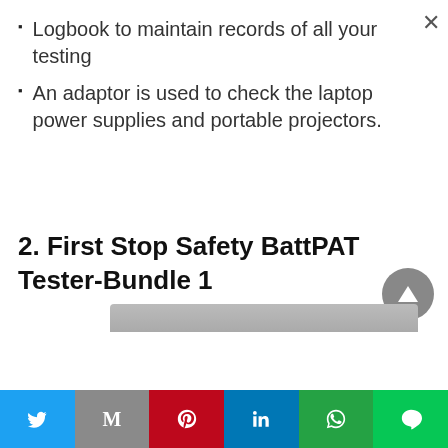Logbook to maintain records of all your testing
An adaptor is used to check the laptop power supplies and portable projectors.
2. First Stop Safety BattPAT Tester-Bundle 1